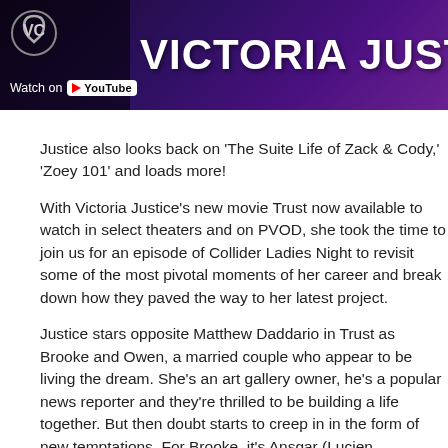[Figure (screenshot): YouTube video thumbnail banner with dark purple/violet gradient background showing 'VICTORIA JUSTICE' title text in large white bold letters, a VG logo on the left, and a 'Watch on YouTube' button overlay at bottom left.]
Justice also looks back on 'The Suite Life of Zack & Cody,' 'Zoey 101' and loads more!
With Victoria Justice's new movie Trust now available to watch in select theaters and on PVOD, she took the time to join us for an episode of Collider Ladies Night to revisit some of the most pivotal moments of her career and break down how they paved the way to her latest project.
Justice stars opposite Matthew Daddario in Trust as Brooke and Owen, a married couple who appear to be living the dream. She's an art gallery owner, he's a popular news reporter and they're thrilled to be building a life together. But then doubt starts to creep in in the form of new temptations. For Brooke, it's Ansgar (Lucien Laviscount) the new artist she signed, a suave painter with a thing for married women,